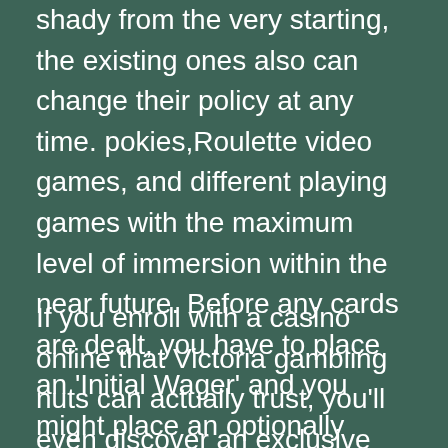shady from the very starting, the existing ones also can change their policy at any time. pokies,Roulette video games, and different playing games with the maximum level of immersion within the near future. Before any cards are dealt, you have to place an 'Initial Wager' and you might place an optionally available 'Tie Wager' within the applicable wagering areas of the format.
If you enroll with a casino online that Victoria gambling nuts can actually trust, you'll even discover an exclusive welcome bonus for first deposits. Take advantage right now and start